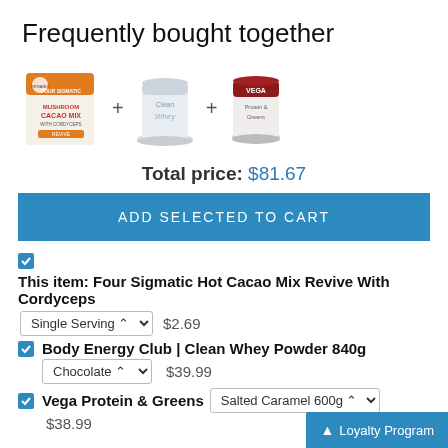Frequently bought together
[Figure (photo): Three product images shown side by side: Four Sigmatic Cacao Mix, Clean Whey protein powder, and Vega protein container, connected by plus signs]
Total price: $81.67
ADD SELECTED TO CART
This item: Four Sigmatic Hot Cacao Mix Revive With Cordyceps  Single Serving  $2.69
Body Energy Club | Clean Whey Powder 840g  Chocolate  $39.99
Vega Protein & Greens  Salted Caramel 600g  $38.99